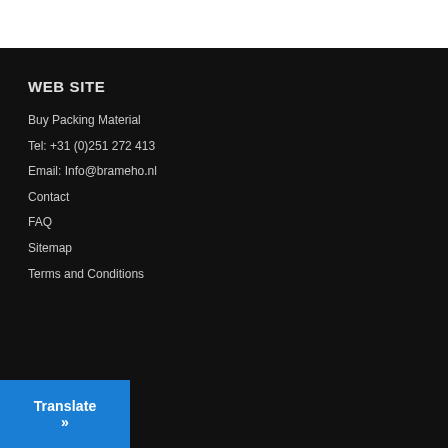WEB SITE
Buy Packing Material
Tel: +31 (0)251 272 413
Email: Info@brameho.nl
Contact
FAQ
Sitemap
Terms and Conditions
Translate »